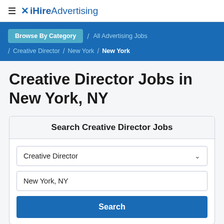≡ ✗ iHireAdvertising
Browse By Category / All Advertising Jobs / Creative Director / New York / New York
Creative Director Jobs in New York, NY
Search Creative Director Jobs
Creative Director
New York, NY
Search